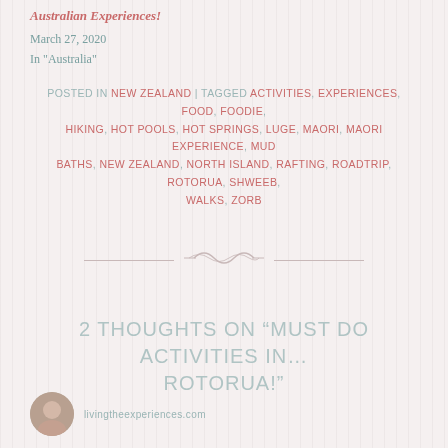Australian Experiences!
March 27, 2020
In "Australia"
POSTED IN NEW ZEALAND | TAGGED ACTIVITIES, EXPERIENCES, FOOD, FOODIE, HIKING, HOT POOLS, HOT SPRINGS, LUGE, MAORI, MAORI EXPERIENCE, MUD BATHS, NEW ZEALAND, NORTH ISLAND, RAFTING, ROADTRIP, ROTORUA, SHWEEB, WALKS, ZORB
[Figure (illustration): Decorative ornamental divider with horizontal lines and a central flourish motif in light pinkish-grey]
2 THOUGHTS ON “MUST DO ACTIVITIES IN… ROTORUA!”
[Figure (photo): Circular avatar photo of a person, partially visible at bottom left of page]